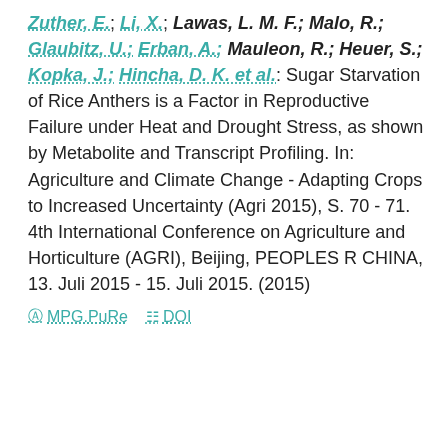Zuther, E.; Li, X.; Lawas, L. M. F.; Malo, R.; Glaubitz, U.; Erban, A.; Mauleon, R.; Heuer, S.; Kopka, J.; Hincha, D. K. et al.: Sugar Starvation of Rice Anthers is a Factor in Reproductive Failure under Heat and Drought Stress, as shown by Metabolite and Transcript Profiling. In: Agriculture and Climate Change - Adapting Crops to Increased Uncertainty (Agri 2015), S. 70 - 71. 4th International Conference on Agriculture and Horticulture (AGRI), Beijing, PEOPLES R CHINA, 13. Juli 2015 - 15. Juli 2015. (2015)
MPG.PuRe   DOI